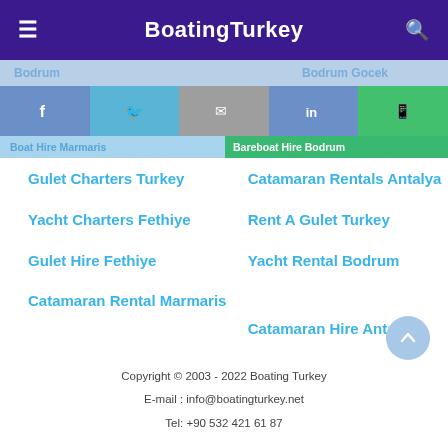BoatingTurkey
Gulet Charters Turkey
Catamaran Rentals Antalya
Yacht Charters Fethiye
Rent A Gulet Turkey
Gulet Hire Fethiye
Yacht Rental Bodrum
Catamaran Rental Marmaris
Catamaran Hire Antalya
Copyright © 2003 - 2022 Boating Turkey
E-mail : info@boatingturkey.net
Tel: +90 532 421 61 87